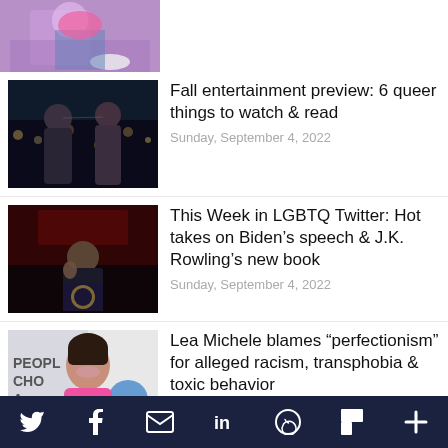[Figure (photo): Partial image of a person kneeling/posing in pink top and jeans, purple background — top of page, cropped]
[Figure (photo): Two people facing each other at night with city lights behind them]
Fall entertainment preview: 6 queer things to watch & read
Sunday, September 4, 2022
[Figure (photo): Person speaking at a podium with presidential seal, red-lit background]
This Week in LGBTQ Twitter: Hot takes on Biden’s speech & J.K. Rowling’s new book
Sunday, September 4, 2022
[Figure (photo): Woman in pink dress smiling, People's Choice Awards backdrop visible]
Lea Michele blames “perfectionism” for alleged racism, transphobia & toxic behavior
Saturday, September 3, 2022
Social share bar with Twitter, Facebook, Email, LinkedIn, WhatsApp, Flipboard, and More icons